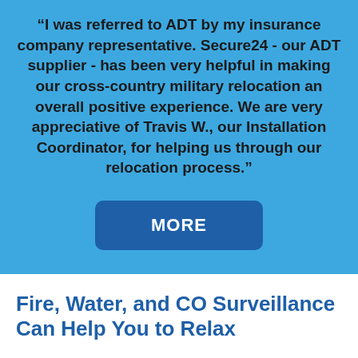“I was referred to ADT by my insurance company representative. Secure24 - our ADT supplier - has been very helpful in making our cross-country military relocation an overall positive experience. We are very appreciative of Travis W., our Installation Coordinator, for helping us through our relocation process.”
[Figure (other): A dark blue rounded rectangle button labeled MORE in bold white uppercase text]
Fire, Water, and CO Surveillance Can Help You to Relax
Protecting your residence from intruders isn’t the sole way to keep your home and loved ones safe